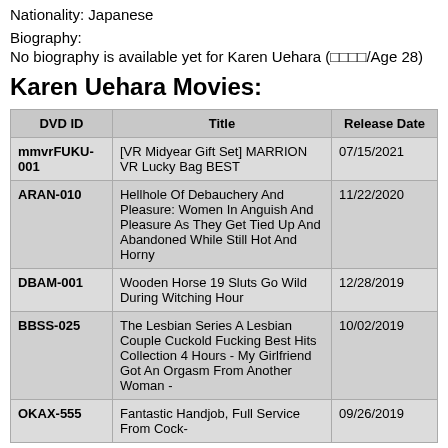Nationality: Japanese
Biography:
No biography is available yet for Karen Uehara (□□□□/Age 28)
Karen Uehara Movies:
| DVD ID | Title | Release Date |
| --- | --- | --- |
| mmvrFUKU-001 | [VR Midyear Gift Set] MARRION VR Lucky Bag BEST | 07/15/2021 |
| ARAN-010 | Hellhole Of Debauchery And Pleasure: Women In Anguish And Pleasure As They Get Tied Up And Abandoned While Still Hot And Horny | 11/22/2020 |
| DBAM-001 | Wooden Horse 19 Sluts Go Wild During Witching Hour | 12/28/2019 |
| BBSS-025 | The Lesbian Series A Lesbian Couple Cuckold Fucking Best Hits Collection 4 Hours - My Girlfriend Got An Orgasm From Another Woman - | 10/02/2019 |
| OKAX-555 | Fantastic Handjob, Full Service From Cock-... | 09/26/2019 |